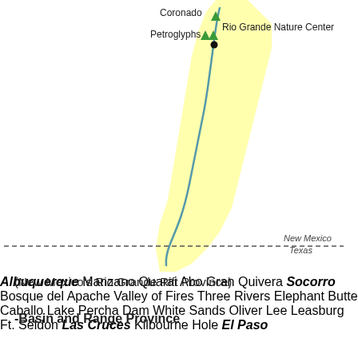[Figure (map): Map of New Mexico's Rio Grande Rift Province showing locations along the Rio Grande from Albuquerque to El Paso, with green and black triangle markers for various sites including Coronado, Petroglyphs, Rio Grande Nature Center, Manzano, Quarai, Abo, Gran Quivera, Bosque del Apache, Valley of Fires, Three Rivers, Elephant Butte, Caballo Lake, Percha Dam, White Sands, Oliver Lee, Leasburg, Ft. Seldon, Kilbourne Hole, and cities Socorro, Las Cruces, El Paso. A dashed line marks the New Mexico/Texas border.]
(New Mexico’s Rio Grande Rift Province)
-Basin and Range Province